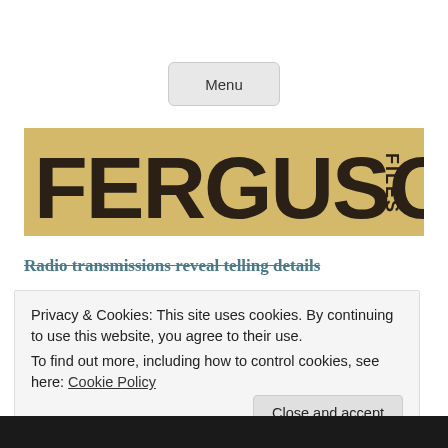Menu
[Figure (logo): Ferguson Files logo — large bold dark brown text 'FERGUSON' with 'FILES' vertically stacked on right side, on a vintage tan/parchment background]
Radio transmissions reveal telling details
Privacy & Cookies: This site uses cookies. By continuing to use this website, you agree to their use.
To find out more, including how to control cookies, see here: Cookie Policy
Close and accept
[Figure (photo): Dark strip at bottom of page showing a partial photo]